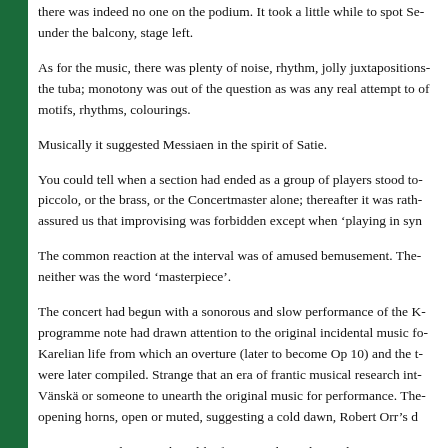there was indeed no one on the podium. It took a little while to spot Se... under the balcony, stage left.
As for the music, there was plenty of noise, rhythm, jolly juxtapositions... the tuba; monotony was out of the question as was any real attempt to... of motifs, rhythms, colourings.
Musically it suggested Messiaen in the spirit of Satie.
You could tell when a section had ended as a group of players stood to... piccolo, or the brass, or the Concertmaster alone; thereafter it was rath... assured us that improvising was forbidden except when 'playing in syn...
The common reaction at the interval was of amused bemusement. The... neither was the word ‘masterpiece’.
The concert had begun with a sonorous and slow performance of the K... programme note had drawn attention to the original incidental music fo... Karelian life from which an overture (later to become Op 10) and the t... were later compiled. Strange that an era of frantic musical research int... Vänskä or someone to unearth the original music for performance. The... opening horns, open or muted, suggesting a cold dawn, Robert Orr's d...
Segerstam is a large Brahms-like figure on the podium whose size see...